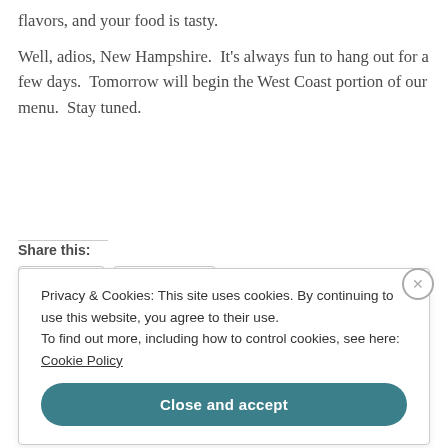flavors, and your food is tasty.
Well, adios, New Hampshire.  It's always fun to hang out for a few days.  Tomorrow will begin the West Coast portion of our menu.  Stay tuned.
Share this:
[Figure (screenshot): Share buttons for Twitter and Facebook, partially visible]
Privacy & Cookies: This site uses cookies. By continuing to use this website, you agree to their use. To find out more, including how to control cookies, see here: Cookie Policy
Close and accept